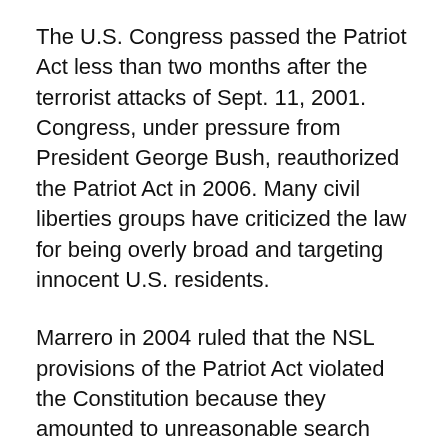The U.S. Congress passed the Patriot Act less than two months after the terrorist attacks of Sept. 11, 2001. Congress, under pressure from President George Bush, reauthorized the Patriot Act in 2006. Many civil liberties groups have criticized the law for being overly broad and targeting innocent U.S. residents.
Marrero in 2004 ruled that the NSL provisions of the Patriot Act violated the Constitution because they amounted to unreasonable search and seizure. After the 2006 revisions to the Patriot Act, the U.S. Court of Appeals for the Second Circuit sent the case back to Marrero for a ruling on whether the NSL provisions were still unconstitutional.
The FBI's use of the NSL program, which existed before the Patriot Act, has ballooned since the law